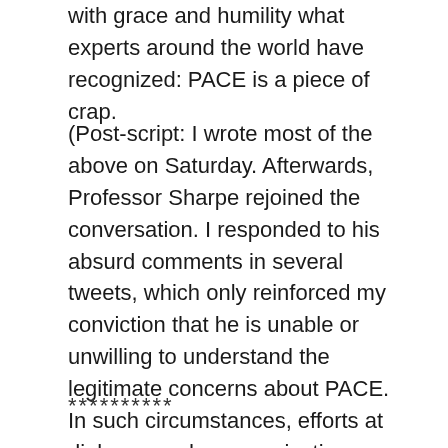with grace and humility what experts around the world have recognized: PACE is a piece of crap.
(Post-script: I wrote most of the above on Saturday. Afterwards, Professor Sharpe rejoined the conversation. I responded to his absurd comments in several tweets, which only reinforced my conviction that he is unable or unwilling to understand the legitimate concerns about PACE. In such circumstances, efforts at dialogue and communication seem pointless. On top of that, Professor Sharpe has now blocked me on Twitter, like his colleague Sir Simon.)
**********